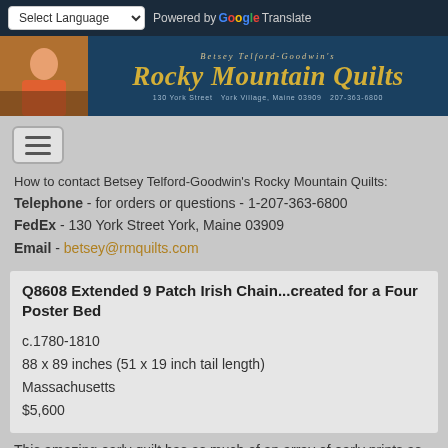Select Language | Powered by Google Translate
[Figure (logo): Rocky Mountain Quilts banner with photo of Betsey Telford-Goodwin, teal background with gold script text reading 'Betsey Telford-Goodwin's Rocky Mountain Quilts', address: 130 York Street York Village, Maine 03909 207-363-6800]
How to contact Betsey Telford-Goodwin's Rocky Mountain Quilts: Telephone - for orders or questions - 1-207-363-6800 FedEx - 130 York Street York, Maine 03909 Email - betsey@rmquilts.com
Q8608 Extended 9 Patch Irish Chain...created for a Four Poster Bed
c.1780-1810
88 x 89 inches (51 x 19 inch tail length)
Massachusetts
$5,600
This amazing early quilt has as much of an array of early prints as